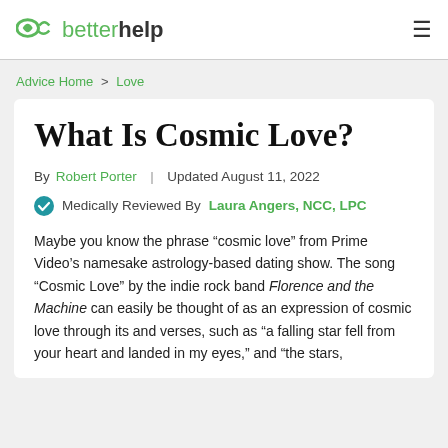betterhelp
Advice Home > Love
What Is Cosmic Love?
By Robert Porter | Updated August 11, 2022
Medically Reviewed By Laura Angers, NCC, LPC
Maybe you know the phrase “cosmic love” from Prime Video’s namesake astrology-based dating show. The song “Cosmic Love” by the indie rock band Florence and the Machine can easily be thought of as an expression of cosmic love through its and verses, such as “a falling star fell from your heart and landed in my eyes,” and “the stars,